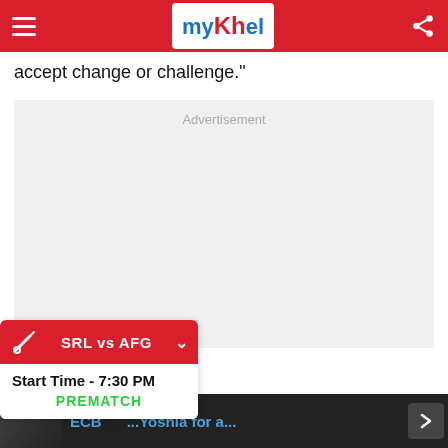myKhel
accept change or challenge."
[Figure (other): Advertisement placeholder box with light gray background and 'Advertisement' label]
[Figure (infographic): Cricket score widget showing SRL vs AFG match, Start Time - 7:30 PM, PREMATCH status]
[Figure (other): Bottom navigation bar with thumbnail image and article link text in blue]